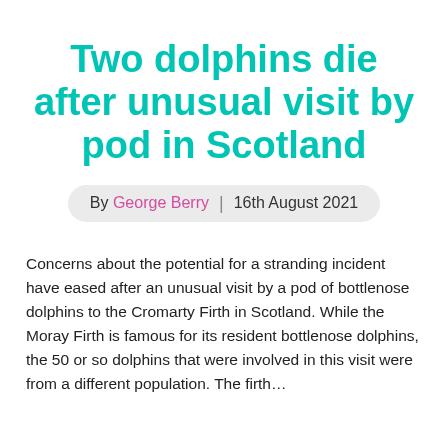Two dolphins die after unusual visit by pod in Scotland
By George Berry | 16th August 2021
Concerns about the potential for a stranding incident have eased after an unusual visit by a pod of bottlenose dolphins to the Cromarty Firth in Scotland. While the Moray Firth is famous for its resident bottlenose dolphins, the 50 or so dolphins that were involved in this visit were from a different population. The firth…